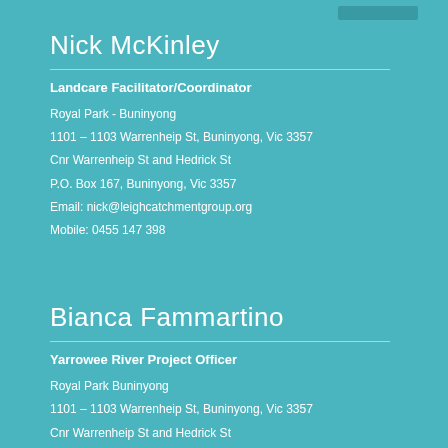Nick McKinley
Landcare Facilitator/Coordinator
Royal Park - Buninyong
1101 – 1103 Warrenheip St, Buninyong, Vic 3357
Cnr Warrenheip St and Hedrick St
P.O. Box 167, Buninyong, Vic 3357
Email: nick@leighcatchmentgroup.org
Mobile: 0455 147 398
Bianca Fammartino
Yarrowee River Project Officer
Royal Park Buninyong
1101 – 1103 Warrenheip St, Buninyong, Vic 3357
Cnr Warrenheip St and Hedrick St
P.O. Box 167, Buninyong, Vic 3357
Email: bianca@leighcatchmentgroup.org Mobile